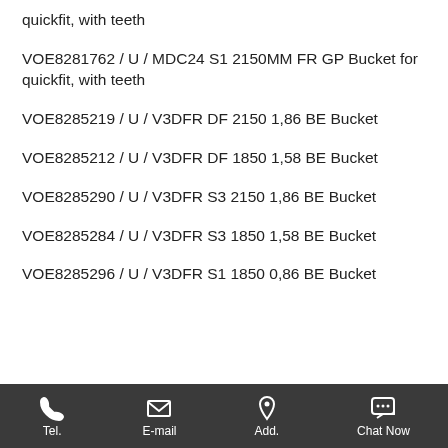quickfit, with teeth
VOE8281762 / U / MDC24 S1 2150MM FR GP Bucket for quickfit, with teeth
VOE8285219 / U / V3DFR DF 2150 1,86 BE Bucket
VOE8285212 / U / V3DFR DF 1850 1,58 BE Bucket
VOE8285290 / U / V3DFR S3 2150 1,86 BE Bucket
VOE8285284 / U / V3DFR S3 1850 1,58 BE Bucket
VOE8285296 / U / V3DFR S1 1850 0,86 BE Bucket
Tel.   E-mail   Add.   Chat Now